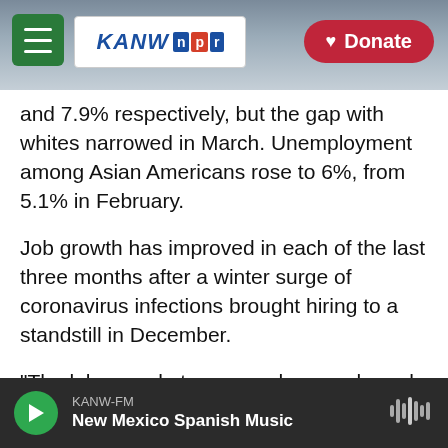[Figure (screenshot): KANW NPR radio website header navigation bar with hamburger menu, KANW NPR logo, and red Donate button. Background shows a mountain landscape.]
and 7.9% respectively, but the gap with whites narrowed in March. Unemployment among Asian Americans rose to 6%, from 5.1% in February.
Job growth has improved in each of the last three months after a winter surge of coronavirus infections brought hiring to a standstill in December.
"The labor market recovery has awakened from its winter slump," said Nela Richardson, chief economist at the payroll processor ADP.
KANW-FM — New Mexico Spanish Music